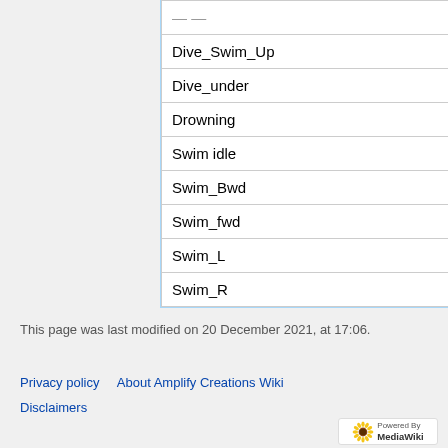| Dive_Swim_Up |
| Dive_under |
| Drowning |
| Swim idle |
| Swim_Bwd |
| Swim_fwd |
| Swim_L |
| Swim_R |
This page was last modified on 20 December 2021, at 17:06.
Privacy policy   About Amplify Creations Wiki   Disclaimers